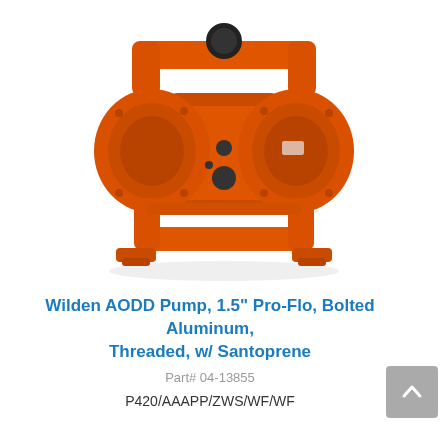[Figure (photo): Orange Wilden AODD (Air-Operated Double Diaphragm) pump, 1.5 inch Pro-Flo, bolted aluminum construction, front-facing view showing symmetric diaphragm chambers, inlet/outlet manifolds, and mounting feet]
Wilden AODD Pump, 1.5" Pro-Flo, Bolted Aluminum, Threaded, w/ Santoprene
Part# 04-13855
P420/AAAPP/ZWS/WF/WF